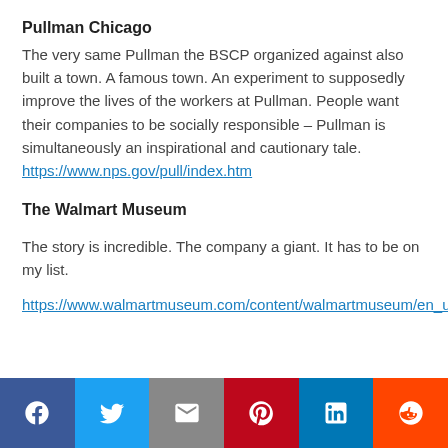Pullman Chicago
The very same Pullman the BSCP organized against also built a town. A famous town. An experiment to supposedly improve the lives of the workers at Pullman. People want their companies to be socially responsible – Pullman is simultaneously an inspirational and cautionary tale.
https://www.nps.gov/pull/index.htm
The Walmart Museum
The story is incredible. The company a giant. It has to be on my list.
https://www.walmartmuseum.com/content/walmartmuseum/en_us.html